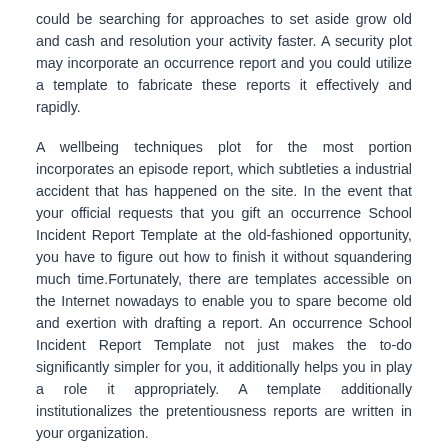could be searching for approaches to set aside grow old and cash and resolution your activity faster. A security plot may incorporate an occurrence report and you could utilize a template to fabricate these reports it effectively and rapidly.
A wellbeing techniques plot for the most portion incorporates an episode report, which subtleties a industrial accident that has happened on the site. In the event that your official requests that you gift an occurrence School Incident Report Template at the old-fashioned opportunity, you have to figure out how to finish it without squandering much time.Fortunately, there are templates accessible on the Internet nowadays to enable you to spare become old and exertion with drafting a report. An occurrence School Incident Report Template not just makes the to-do significantly simpler for you, it additionally helps you in play a role it appropriately. A template additionally institutionalizes the pretentiousness reports are written in your organization.
Furthermore today a School Incident Report Template is going to set aside them period and cash and is positively going to make their objection simpler. anything should be gifted inside your situation and a decent method to complete this is to utilize templates that accelerate the procedure of any archive composing. Indeed in the business that you